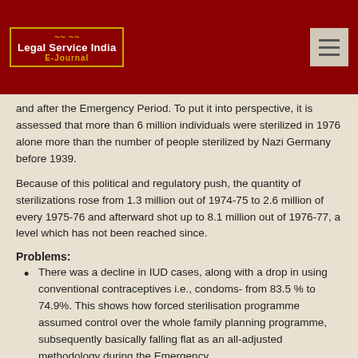Legal Service India E-Journal
and after the Emergency Period. To put it into perspective, it is assessed that more than 6 million individuals were sterilized in 1976 alone more than the number of people sterilized by Nazi Germany before 1939.
Because of this political and regulatory push, the quantity of sterilizations rose from 1.3 million out of 1974-75 to 2.6 million of every 1975-76 and afterward shot up to 8.1 million out of 1976-77, a level which has not been reached since.
Problems:
There was a decline in IUD cases, along with a drop in using conventional contraceptives i.e., condoms- from 83.5 % to 74.9%. This shows how forced sterilisation programme assumed control over the whole family planning programme, subsequently basically falling flat as an all-adjusted methodology during the Emergency.